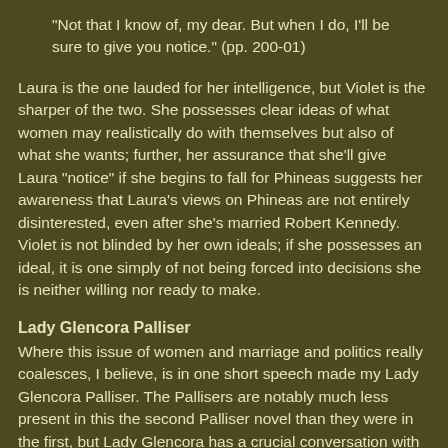"Not that I know of, my dear. But when I do, I'll be sure to give you notice." (pp. 200-01)
Laura is the one lauded for her intelligence, but Violet is the sharper of the two. She possesses clear ideas of what women may realistically do with themselves but also of what she wants; further, her assurance that she'll give Laura “notice” if she begins to fall for Phineas suggests her awareness that Laura’s views on Phineas are not entirely disinterested, even after she’s married Robert Kennedy. Violet is not blinded by her own ideals; if she possesses an ideal, it is one simply of not being forced into decisions she is neither willing nor ready to make.
Lady Glencora Palliser
Where this issue of women and marriage and politics really coalesces, I believe, is in one short speech made my Lady Glencora Palliser. The Pallisers are notably much less present in this the second Palliser novel than they were in the first, but Lady Glencora has a crucial conversation with the more traditional Mrs. Bonteen at a political event in